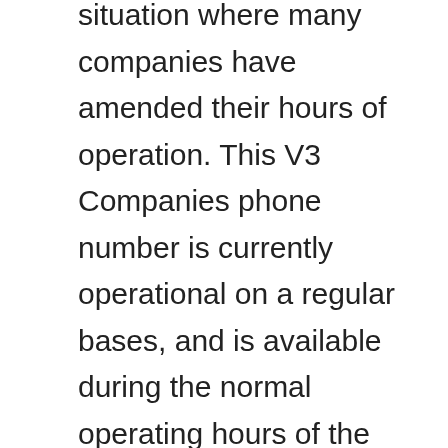The coronavirus pandemic created a situation where many companies have amended their hours of operation. This V3 Companies phone number is currently operational on a regular bases, and is available during the normal operating hours of the company. V3 Companies phone number is going to quickly connect you to the correct person you are looking for. V3 Companies is working in conjunction with city of Woodridge, the state and the health department authorities of USA to protect the employees health and customers.
We provide you with this V3 Companies